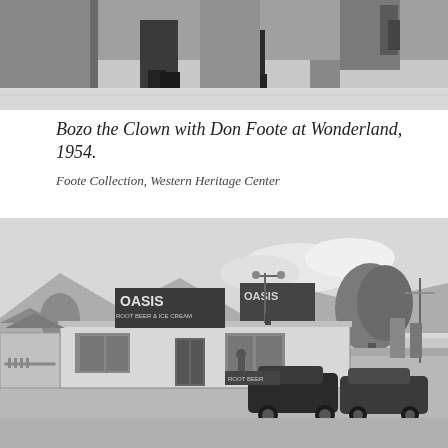[Figure (photo): Black and white photo cropped at top showing legs/boots of what appears to be a clown and another person, with equipment visible in background.]
Bozo the Clown with Don Foote at Wonderland, 1954.
Foote Collection, Western Heritage Center
[Figure (photo): Black and white photograph of an Oasis restaurant/drive-in building with vintage 1950s cars parked in front. The low building has signs reading 'OASIS' and there are trees in the background along with mountains on the horizon.]